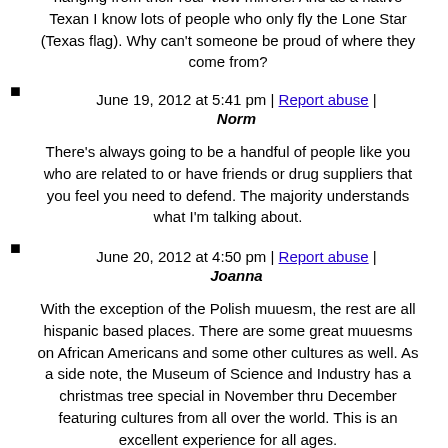hanging from their rear-view mirrors. And as a native Texan I know lots of people who only fly the Lone Star (Texas flag). Why can't someone be proud of where they come from?
June 19, 2012 at 5:41 pm | Report abuse |
Norm
There's always going to be a handful of people like you who are related to or have friends or drug suppliers that you feel you need to defend. The majority understands what I'm talking about.
June 20, 2012 at 4:50 pm | Report abuse |
Joanna
With the exception of the Polish muuesm, the rest are all hispanic based places. There are some great muuesms on African Americans and some other cultures as well. As a side note, the Museum of Science and Industry has a christmas tree special in November thru December featuring cultures from all over the world. This is an excellent experience for all ages.